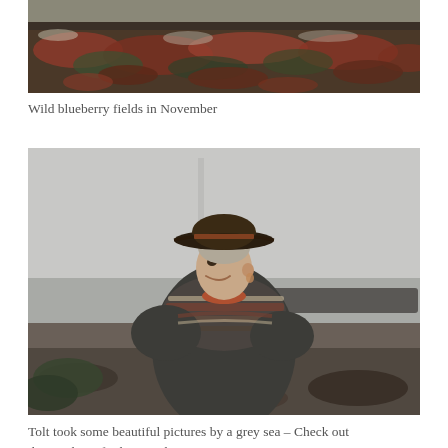[Figure (photo): Wild blueberry fields in November — autumn tundra vegetation showing red, orange, and dark green low-growing plants against dark soil]
Wild blueberry fields in November
[Figure (photo): A woman wearing a dark brown wide-brimmed hat and a patterned Nordic/Icelandic sweater with an orange collar, smiling, photographed outdoors by a grey sea and rocky shoreline]
Tolt took some beautiful pictures by a grey sea – Check out their website for bigger photos!